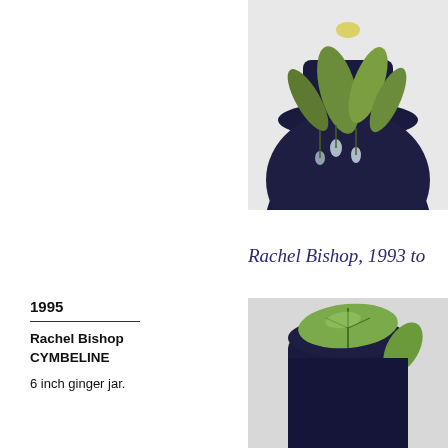[Figure (photo): Partial view of a dark navy blue ceramic vase with green and white floral decoration (snowdrop or bluebell motif), cropped showing the lower portion of the vase body on a light grey background.]
Rachel Bishop, 1993 to
1995
Rachel Bishop CYMBELINE
6 inch ginger jar.
[Figure (photo): Close-up of a dark navy blue ceramic piece with large green leaf decoration, showing the top rim area of the piece, photographed against a light grey background.]